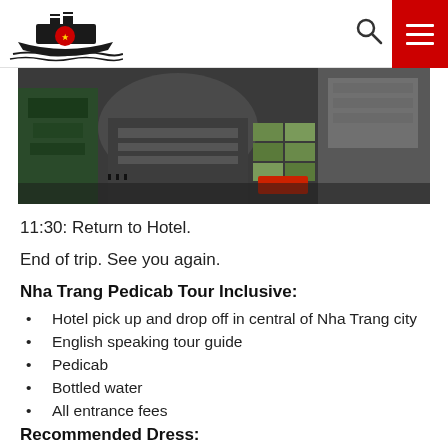Navigation header with logo, search icon, and hamburger menu
[Figure (photo): Aerial view of a busy port/market area with buildings and vehicles, dark overhead perspective]
11:30: Return to Hotel.
End of trip. See you again.
Nha Trang Pedicab Tour Inclusive:
Hotel pick up and drop off in central of Nha Trang city
English speaking tour guide
Pedicab
Bottled water
All entrance fees
Recommended Dress: